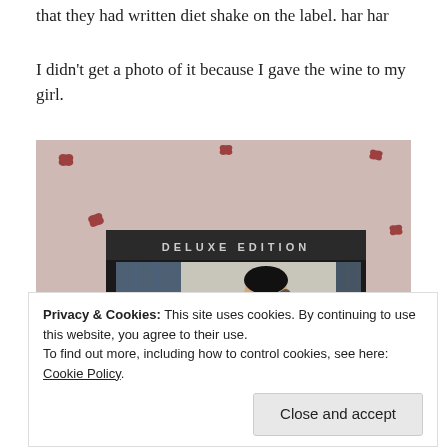that they had written diet shake on the label. har har
I didn’t get a photo of it because I gave the wine to my girl.
[Figure (photo): Photo of a DVD or album case labeled 'DELUXE EDITION' showing a young man in a striped shirt, placed on a floral fabric background with red flower pattern.]
Privacy & Cookies: This site uses cookies. By continuing to use this website, you agree to their use.
To find out more, including how to control cookies, see here: Cookie Policy
Close and accept